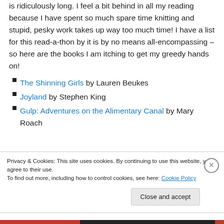is ridiculously long. I feel a bit behind in all my reading because I have spent so much spare time knitting and stupid, pesky work takes up way too much time! I have a list for this read-a-thon by it is by no means all-encompassing – so here are the books I am itching to get my greedy hands on!
The Shinning Girls by Lauren Beukes
Joyland by Stephen King
Gulp: Adventures on the Alimentary Canal by Mary Roach
Privacy & Cookies: This site uses cookies. By continuing to use this website, you agree to their use. To find out more, including how to control cookies, see here: Cookie Policy